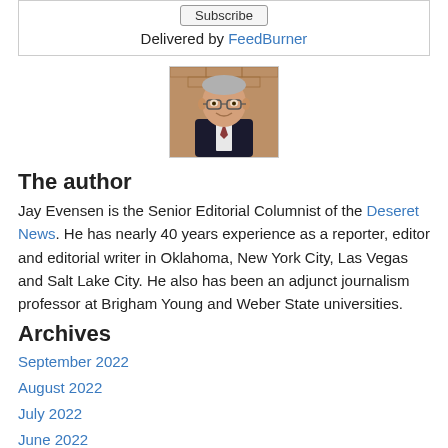Subscribe
Delivered by FeedBurner
[Figure (photo): Headshot of a man in glasses and dark suit, smiling, with a brick wall background]
The author
Jay Evensen is the Senior Editorial Columnist of the Deseret News. He has nearly 40 years experience as a reporter, editor and editorial writer in Oklahoma, New York City, Las Vegas and Salt Lake City. He also has been an adjunct journalism professor at Brigham Young and Weber State universities.
Archives
September 2022
August 2022
July 2022
June 2022